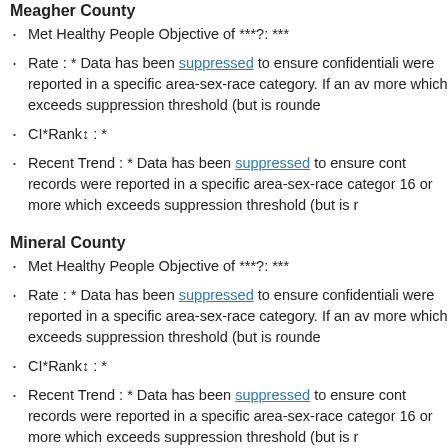Meagher County
Met Healthy People Objective of ***?: ***
Rate : * Data has been suppressed to ensure confidentiality were reported in a specific area-sex-race category. If an av more which exceeds suppression threshold (but is rounde
CI*Rank↕ : *
Recent Trend : * Data has been suppressed to ensure cont records were reported in a specific area-sex-race categor 16 or more which exceeds suppression threshold (but is r
Mineral County
Met Healthy People Objective of ***?: ***
Rate : * Data has been suppressed to ensure confidentiality were reported in a specific area-sex-race category. If an av more which exceeds suppression threshold (but is rounde
CI*Rank↕ : *
Recent Trend : * Data has been suppressed to ensure cont records were reported in a specific area-sex-race categor 16 or more which exceeds suppression threshold (but is r
Musselshell County
Met Healthy People Objective of ***?: ***